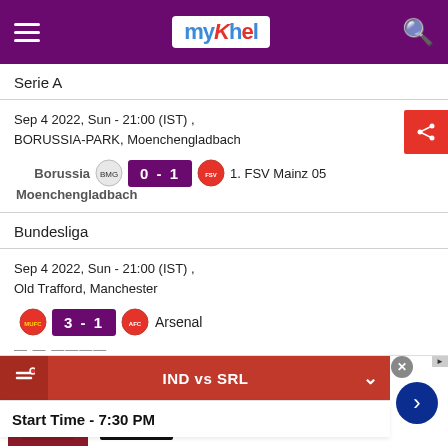myKhel
Serie A
Sep 4 2022, Sun - 21:00 (IST) , BORUSSIA-PARK, Moenchengladbach
Borussia Moenchengladbach 0 - 1 1. FSV Mainz 05
Bundesliga
Sep 4 2022, Sun - 21:00 (IST) , Old Trafford, Manchester
3 - 1 Arsenal
IND vs SRL
Start Time - 7:30 PM
[Figure (screenshot): NFL Shop advertisement banner with shop now button]